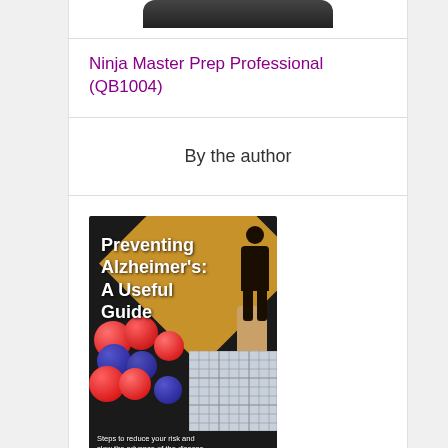[Figure (photo): Partial view of a dark object (blender/kitchen appliance) at the top of the page]
Ninja Master Prep Professional (QB1004)
By the author
[Figure (photo): Book cover: Preventing Alzheimer's: A Useful Guide. Steps to reduce your risk and slow the advance of the disease. Dark background with diamond/warning sign shape, berries, sudoku puzzle, and silhouette of person.]